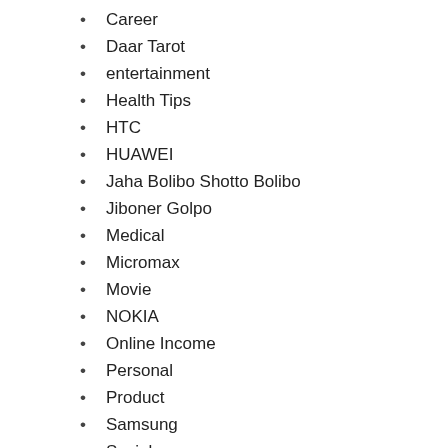Career
Daar Tarot
entertainment
Health Tips
HTC
HUAWEI
Jaha Bolibo Shotto Bolibo
Jiboner Golpo
Medical
Micromax
Movie
NOKIA
Online Income
Personal
Product
Samsung
Social
socialblogworld
Software
Uncategorized